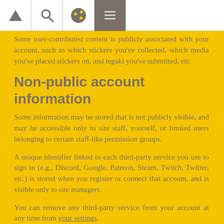Navigation bar with icons: triangle/back, search, user/profile, and active menu button
Some user-contributed content is publicly associated with your account, such as which stickers you've collected, which media you've placed stickers on, and tegaki you've submitted, etc.
Non-public account information
Some information may be stored that is not publicly visible, and may be accessible only to site staff, yourself, or limited users belonging to certain staff-like permission groups.
A unique identifier linked to each third-party service you use to sign in (e.g., Discord, Google, Patreon, Steam, Twitch, Twitter, etc.) is stored when you register or connect that account, and is visible only to site managers.
You can remove any third-party service from your account at any time from your settings.
Identifiers for each active session (composed of a session token, a reference to the browser and